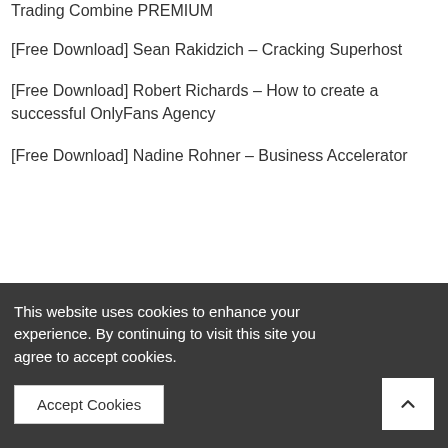Trading Combine PREMIUM
[Free Download] Sean Rakidzich – Cracking Superhost
[Free Download] Robert Richards – How to create a successful OnlyFans Agency
[Free Download] Nadine Rohner – Business Accelerator
Subscribe to our Special g
This website uses cookies to enhance your experience. By continuing to visit this site you agree to accept cookies.